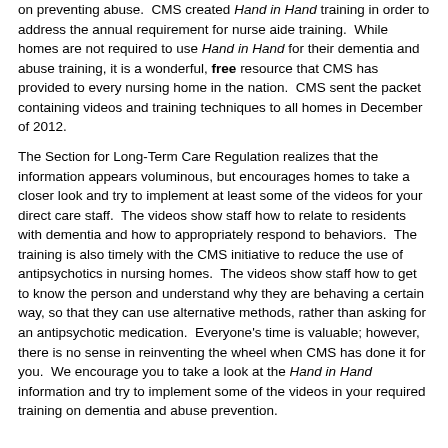on preventing abuse. CMS created Hand in Hand training in order to address the annual requirement for nurse aide training. While homes are not required to use Hand in Hand for their dementia and abuse training, it is a wonderful, free resource that CMS has provided to every nursing home in the nation. CMS sent the packet containing videos and training techniques to all homes in December of 2012.
The Section for Long-Term Care Regulation realizes that the information appears voluminous, but encourages homes to take a closer look and try to implement at least some of the videos for your direct care staff. The videos show staff how to relate to residents with dementia and how to appropriately respond to behaviors. The training is also timely with the CMS initiative to reduce the use of antipsychotics in nursing homes. The videos show staff how to get to know the person and understand why they are behaving a certain way, so that they can use alternative methods, rather than asking for an antipsychotic medication. Everyone's time is valuable; however, there is no sense in reinventing the wheel when CMS has done it for you. We encourage you to take a look at the Hand in Hand information and try to implement some of the videos in your required training on dementia and abuse prevention.